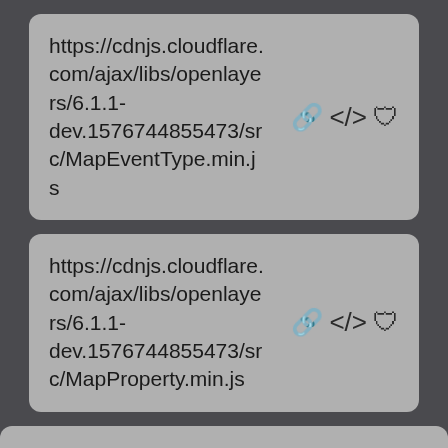https://cdnjs.cloudflare.com/ajax/libs/openlayers/6.1.1-dev.1576744855473/src/MapEventType.min.js
https://cdnjs.cloudflare.com/ajax/libs/openlayers/6.1.1-dev.1576744855473/src/MapProperty.min.js
https://cdnjs.cloudflare.com/ajax/libs/openlayers/6.1.1-dev.1576744855473/src/Object.min.js